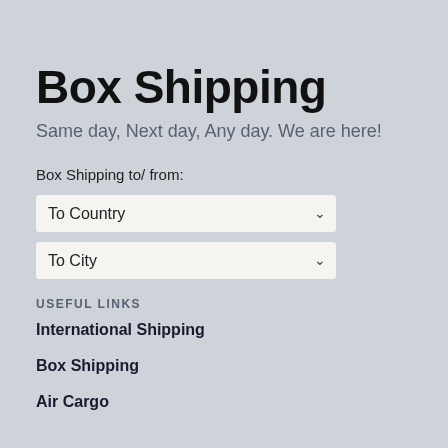Box Shipping
Same day, Next day, Any day. We are here!
Box Shipping to/ from:
[Figure (screenshot): Dropdown selector labeled 'To Country' with down arrow]
[Figure (screenshot): Dropdown selector labeled 'To City' with down arrow]
USEFUL LINKS
International Shipping
Box Shipping
Air Cargo